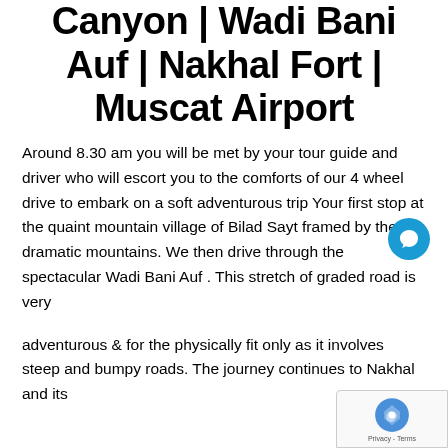Bilad Sayt | Snake Canyon | Wadi Bani Auf | Nakhal Fort | Muscat Airport
Around 8.30 am you will be met by your tour guide and driver who will escort you to the comforts of our 4 wheel drive to embark on a soft adventurous trip Your first stop at the quaint mountain village of Bilad Sayt framed by the dramatic mountains. We then drive through the spectacular Wadi Bani Auf . This stretch of graded road is very
adventurous & for the physically fit only as it involves steep and bumpy roads. The journey continues to Nakhal and its